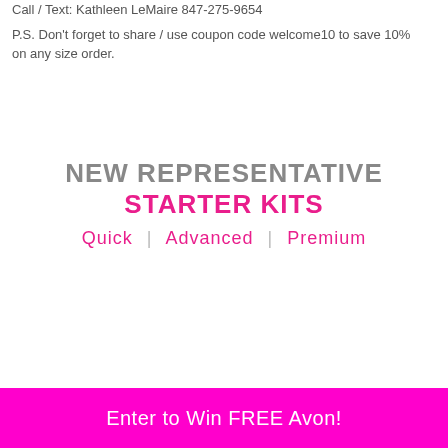Call / Text: Kathleen LeMaire 847-275-9654
P.S. Don't forget to share / use coupon code welcome10 to save 10% on any size order.
NEW REPRESENTATIVE STARTER KITS
Quick | Advanced | Premium
Enter to Win FREE Avon!